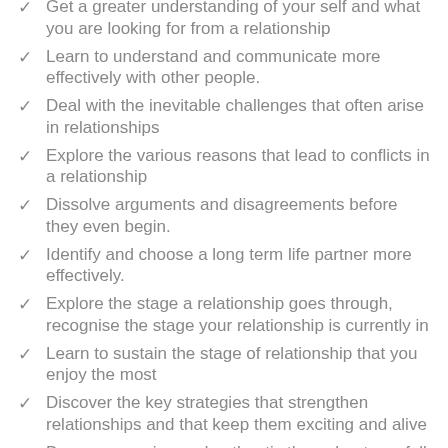Get a greater understanding of your self and what you are looking for from a relationship
Learn to understand and communicate more effectively with other people.
Deal with the inevitable challenges that often arise in relationships
Explore the various reasons that lead to conflicts in a relationship
Dissolve arguments and disagreements before they even begin.
Identify and choose a long term life partner more effectively.
Explore the stage a relationship goes through, recognise the stage your relationship is currently in
Learn to sustain the stage of relationship that you enjoy the most
Discover the key strategies that strengthen relationships and that keep them exciting and alive
Be more genuine and authentic throughout you full